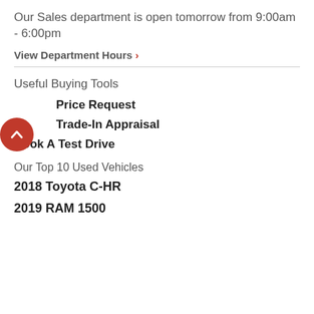Our Sales department is open tomorrow from 9:00am - 6:00pm
View Department Hours ›
Useful Buying Tools
Price Request
Trade-In Appraisal
Book A Test Drive
Our Top 10 Used Vehicles
2018 Toyota C-HR
2019 RAM 1500